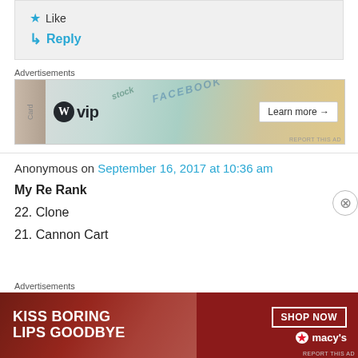★ Like
↳ Reply
Advertisements
[Figure (screenshot): WordPress VIP advertisement banner with 'Learn more →' button and social media card imagery in background]
Anonymous on September 16, 2017 at 10:36 am
My Re Rank
22. Clone
21. Cannon Cart
Advertisements
[Figure (screenshot): Macy's advertisement banner: 'KISS BORING LIPS GOODBYE' with SHOP NOW button and Macy's logo with red star]